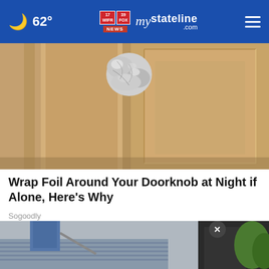62° mystateline.com NEWS
[Figure (photo): Close-up photo of a wooden door with aluminum foil wrapped around the door knob]
Wrap Foil Around Your Doorknob at Night if Alone, Here's Why
Sogoodly
[Figure (photo): Photo showing person using a pressure washer on a deck, with an AARP advertisement overlay reading 'It's not too late to take charge of your retirement. Get your top 3 tips']